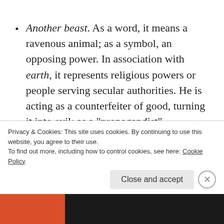Another beast. As a word, it means a ravenous animal; as a symbol, an opposing power. In association with earth, it represents religious powers or people serving secular authorities. He is acting as a counterfeiter of good, turning it into evil; as a “propagandist” (dispensing deceptive misinformation) for evil, it is the first beast and Dragon’s attorney who acts
Privacy & Cookies: This site uses cookies. By continuing to use this website, you agree to their use.
To find out more, including how to control cookies, see here: Cookie Policy